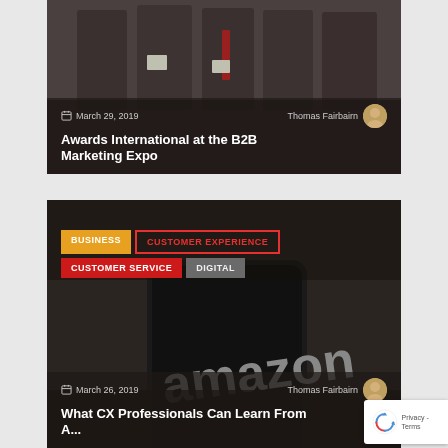[Figure (photo): Dark photo of group of men in suits at a conference/expo event, partially visible at top]
March 29, 2019
Thomas Fairbairn
Awards International at the B2B Marketing Expo
[Figure (photo): Dark photo showing a smartphone with Amazon logo/app visible]
BUSINESS
CUSTOMER EXPERIENCE
CUSTOMER SERVICE
DIGITAL
March 26, 2019
Thomas Fairbairn
What CX Professionals Can Learn From A...